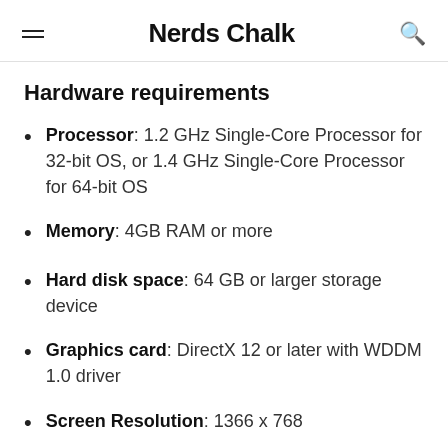Nerds Chalk
Hardware requirements
Processor: 1.2 GHz Single-Core Processor for 32-bit OS, or 1.4 GHz Single-Core Processor for 64-bit OS
Memory: 4GB RAM or more
Hard disk space: 64 GB or larger storage device
Graphics card: DirectX 12 or later with WDDM 1.0 driver
Screen Resolution: 1366 x 768